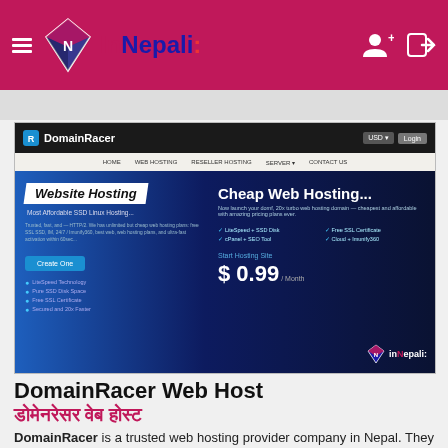InNepali website header with logo and navigation icons
[Figure (screenshot): DomainRacer website screenshot showing Website Hosting banner with 'Cheap Web Hosting...' headline and $0.99/Month price]
DomainRacer Web Host
डोमेनरेसर वेब होस्ट
DomainRacer is a trusted web hosting provider company in Nepal. They provide Shared Hosting, VPS Hosting, Reseller Hosting, and Dedicated server hosting. And also